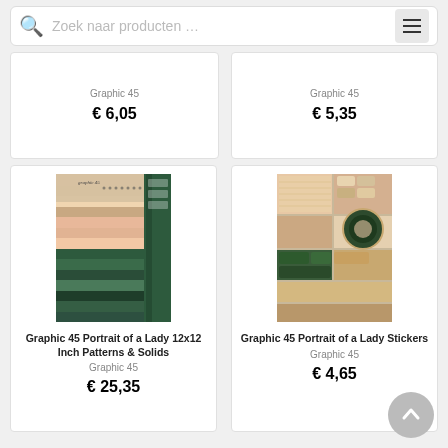Zoek naar producten …
Graphic 45
€ 6,05
Graphic 45
€ 5,35
[Figure (photo): Graphic 45 Portrait of a Lady 12x12 Inch Patterns & Solids scrapbook paper pad showing striped and patterned papers in pink, beige, and dark green]
Graphic 45 Portrait of a Lady 12x12 Inch Patterns & Solids
Graphic 45
€ 25,35
[Figure (photo): Graphic 45 Portrait of a Lady Stickers sheet showing decorative stickers with frames, labels, and circular elements in green, pink and beige]
Graphic 45 Portrait of a Lady Stickers
Graphic 45
€ 4,65